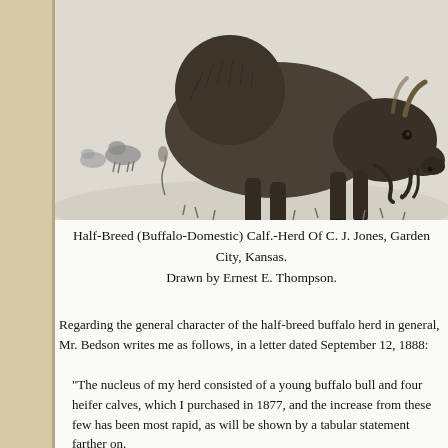[Figure (illustration): Pen-and-ink illustration of a half-breed buffalo-domestic calf standing in a grassy field, with a herd of animals visible in the background. Drawn by Ernest E. Thompson.]
Half-Breed (Buffalo-Domestic) Calf.-Herd Of C. J. Jones, Garden City, Kansas.
Drawn by Ernest E. Thompson.
Regarding the general character of the half-breed buffalo herd in general, Mr. Bedson writes me as follows, in a letter dated September 12, 1888:
"The nucleus of my herd consisted of a young buffalo bull and four heifer calves, which I purchased in 1877, and the increase from these few has been most rapid, as will be shown by a tabular statement farther on.
"So much with the breeding of the cow buffalo, as follows: